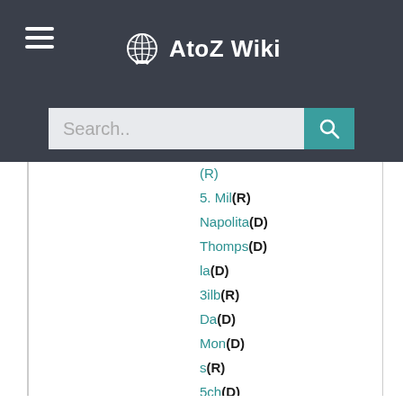AtoZ Wiki
[Figure (screenshot): Search bar with placeholder text 'Search..' and a teal search button with magnifying glass icon]
(R)
5. Mil(R)
Napolita(D)
Thomps(D)
la(D)
3ilb(R)
Da(D)
Mon(D)
s(R)
5ch(D)
Cardo(D)
Nun(R)
5ánch(D)
Cos(D)